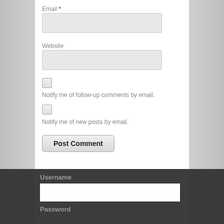Email *
[Figure (screenshot): Email text input field (empty, light gray background)]
Website
[Figure (screenshot): Website text input field (empty, light gray background)]
Notify me of follow-up comments by email.
Notify me of new posts by email.
Post Comment
Username
[Figure (screenshot): Username text input field (empty, white background)]
Password